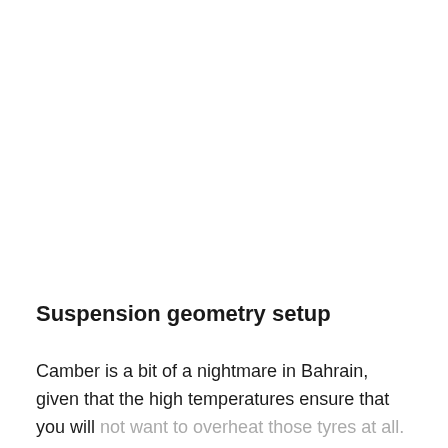Suspension geometry setup
Camber is a bit of a nightmare in Bahrain, given that the high temperatures ensure that you will not want to overheat those tyres at all. Still, the swooping left and right-hander in the final sector